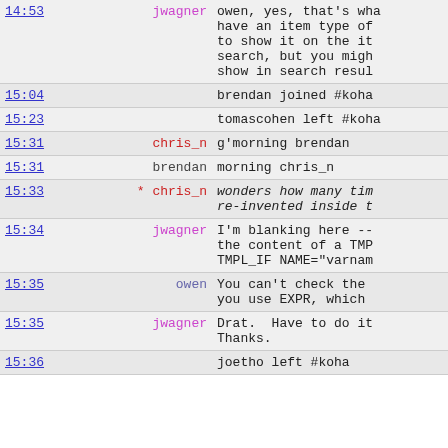| time | user | message |
| --- | --- | --- |
| 14:53 | jwagner | owen, yes, that's wha have an item type of to show it on the it search, but you migh show in search resul |
| 15:04 |  | brendan joined #koha |
| 15:23 |  | tomascohen left #koha |
| 15:31 | chris_n | g'morning brendan |
| 15:31 | brendan | morning chris_n |
| 15:33 | * chris_n | wonders how many tim re-invented inside t |
| 15:34 | jwagner | I'm blanking here -- the content of a TMP TMPL_IF NAME="varname |
| 15:35 | owen | You can't check the you use EXPR, which |
| 15:35 | jwagner | Drat.  Have to do it Thanks. |
| 15:36 |  | joetho left #koha |